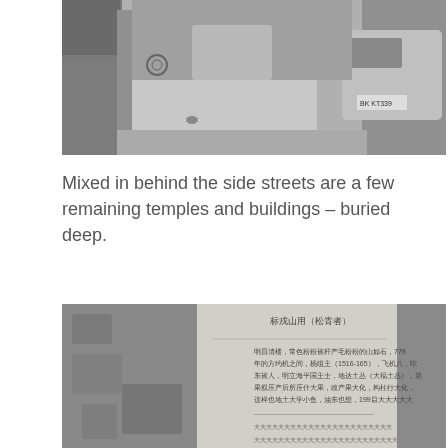[Figure (photo): Black and white photo of a narrow side street alley with parked cars and buildings on both sides]
Mixed in behind the side streets are a few remaining temples and buildings – buried deep.
[Figure (photo): Black and white photo of a weathered wall with Chinese text/signage inscription]